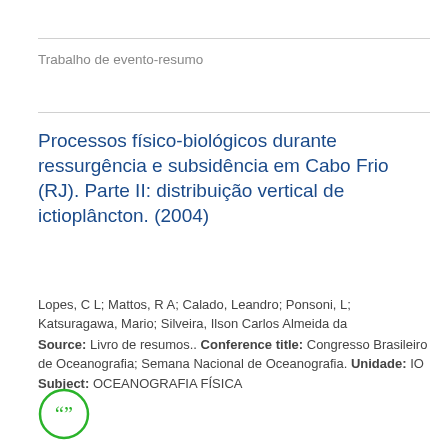Trabalho de evento-resumo
Processos físico-biológicos durante ressurgência e subsidência em Cabo Frio (RJ). Parte II: distribuição vertical de ictioplâncton. (2004)
Lopes, C L; Mattos, R A; Calado, Leandro; Ponsoni, L; Katsuragawa, Mario; Silveira, Ilson Carlos Almeida da
Source: Livro de resumos.. Conference title: Congresso Brasileiro de Oceanografia; Semana Nacional de Oceanografia. Unidade: IO
Subject: OCEANOGRAFIA FÍSICA
[Figure (illustration): Green circle quote icon (open and close quotation marks in green on white background)]